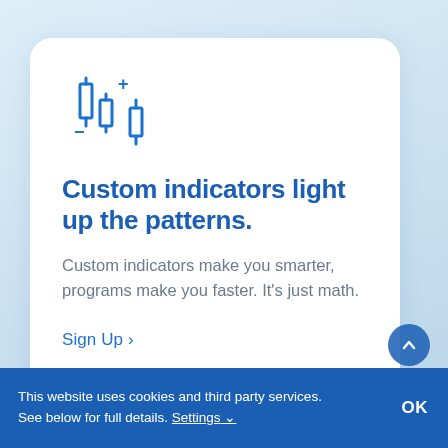[Figure (illustration): Blue icon of candlestick chart bars with a plus and minus symbol indicating custom indicators]
Custom indicators light up the patterns.
Custom indicators make you smarter, programs make you faster. It’s just math.
Sign Up ›
This website uses cookies and third party services. See below for full details. Settings ∨  OK